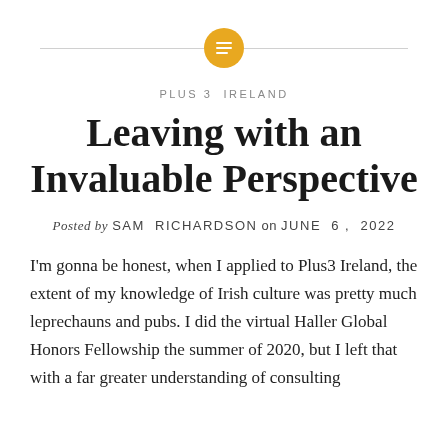[Figure (logo): Golden/amber circular icon with horizontal lines (menu/list icon) centered on a thin horizontal divider line]
PLUS3 IRELAND
Leaving with an Invaluable Perspective
Posted by SAM RICHARDSON on JUNE 6, 2022
I'm gonna be honest, when I applied to Plus3 Ireland, the extent of my knowledge of Irish culture was pretty much leprechauns and pubs. I did the virtual Haller Global Honors Fellowship the summer of 2020, but I left that with a far greater understanding of consulting